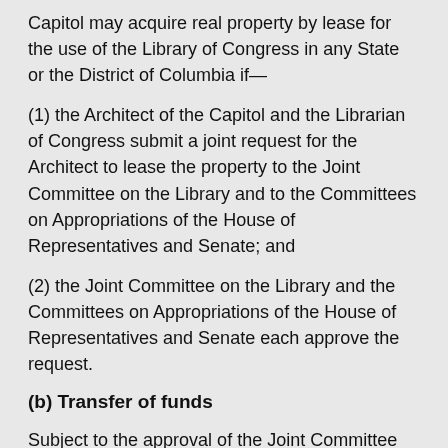Capitol may acquire real property by lease for the use of the Library of Congress in any State or the District of Columbia if—
(1) the Architect of the Capitol and the Librarian of Congress submit a joint request for the Architect to lease the property to the Joint Committee on the Library and to the Committees on Appropriations of the House of Representatives and Senate; and
(2) the Joint Committee on the Library and the Committees on Appropriations of the House of Representatives and Senate each approve the request.
(b) Transfer of funds
Subject to the approval of the Joint Committee on the Library and the Committees on Appropriations of the House of Representatives and the Senate, the Architect of the Capitol and the Librarian of Congress may transfer between them, as necessary, amounts the